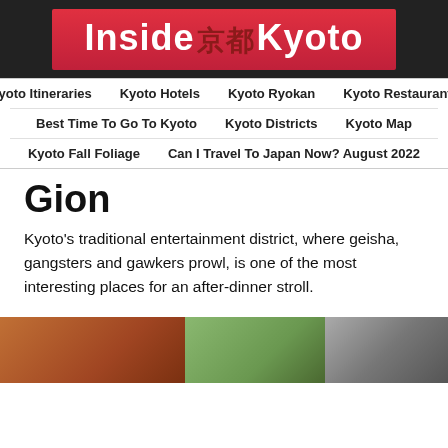Inside 京都 Kyoto
Kyoto Itineraries
Kyoto Hotels
Kyoto Ryokan
Kyoto Restaurants
Best Time To Go To Kyoto
Kyoto Districts
Kyoto Map
Kyoto Fall Foliage
Can I Travel To Japan Now? August 2022
Gion
Kyoto's traditional entertainment district, where geisha, gangsters and gawkers prowl, is one of the most interesting places for an after-dinner stroll.
[Figure (photo): Street scene photos of Gion district in Kyoto, showing temple gate, traditional street, and buildings]